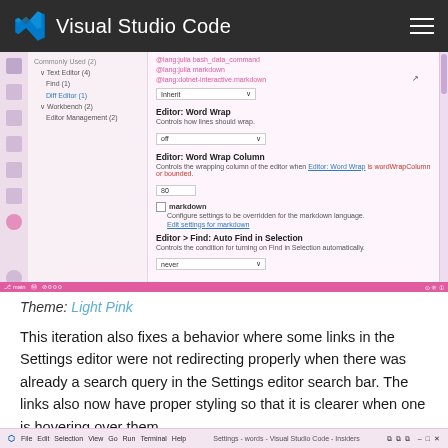Visual Studio Code
[Figure (screenshot): Screenshot of Visual Studio Code Settings editor showing Word Wrap, Word Wrap Column, markdown language override, and Find Auto Find in Selection settings with a Light Pink theme.]
Theme: Light Pink
This iteration also fixes a behavior where some links in the Settings editor were not redirecting properly when there was already a search query in the Settings editor search bar. The links also now have proper styling so that it is clearer when one is hovering over them.
[Figure (screenshot): Partial screenshot of Visual Studio Code bottom status bar with Light Pink theme.]